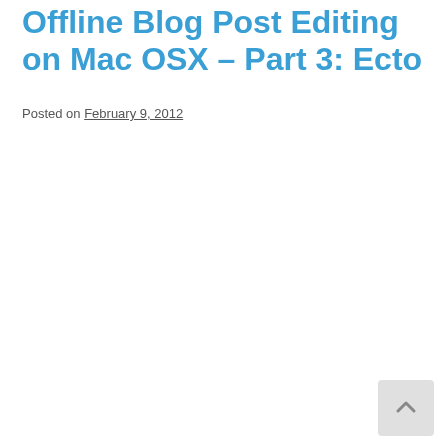Offline Blog Post Editing on Mac OSX – Part 3: Ecto
Posted on February 9, 2012